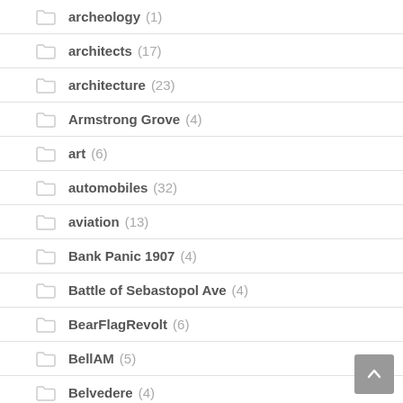archeology (1)
architects (17)
architecture (23)
Armstrong Grove (4)
art (6)
automobiles (32)
aviation (13)
Bank Panic 1907 (4)
Battle of Sebastopol Ave (4)
BearFlagRevolt (6)
BellAM (5)
Belvedere (4)